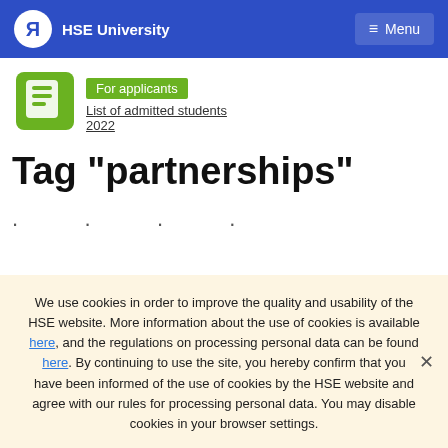HSE University   ≡ Menu
For applicants
List of admitted students 2022
Tag "partnerships"
· · · ·
We use cookies in order to improve the quality and usability of the HSE website. More information about the use of cookies is available here, and the regulations on processing personal data can be found here. By continuing to use the site, you hereby confirm that you have been informed of the use of cookies by the HSE website and agree with our rules for processing personal data. You may disable cookies in your browser settings.